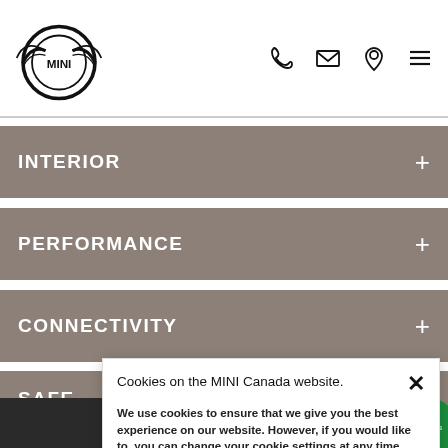MINI logo and navigation icons (phone, email, location, menu)
INTERIOR
PERFORMANCE
CONNECTIVITY
SAFE
FUE
Cookies on the MINI Canada website.

We use cookies to ensure that we give you the best experience on our website. However, if you would like to, you can change your cookie settings at any time, through your browser settings. You may not disable certain types of cookies that are essential to the operation of our website and that are considered strictly necessary cookies. For example, we use strictly necessary cookies to provide you with regional pricing information. You can find detailed information about how cookies are used on this website by clicking here.